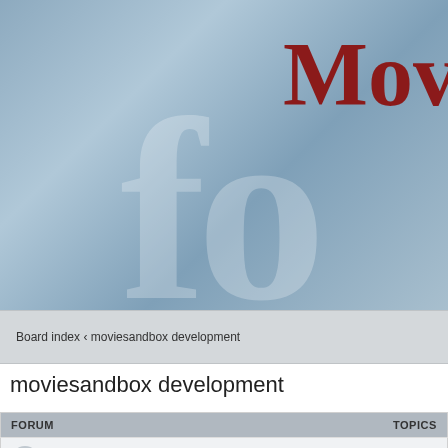[Figure (screenshot): Forum website header banner with blue-grey gradient background, large red serif 'Mov' text partially visible in top right, and large watermark 'fo' letters in semi-transparent white]
Board index ‹ moviesandbox development
moviesandbox development
| FORUM | TOPICS |
| --- | --- |
| Moviesandbox Wiki |  |